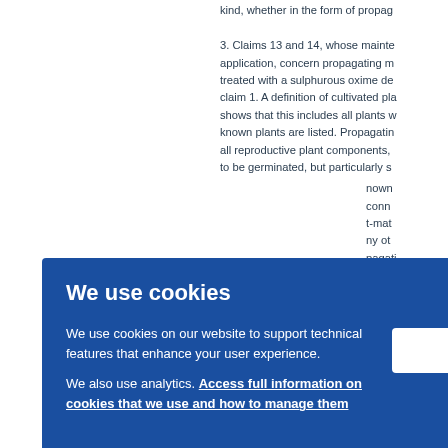kind, whether in the form of propag
3. Claims 13 and 14, whose mainte application, concern propagating m treated with a sulphurous oxime de claim 1. A definition of cultivated pla shows that this includes all plants w known plants are listed. Propagatin all reproductive plant components, to be germinated, but particularly s known conn t-mat ny ot pagati icle 5 ne ge 53(b) arietie
[Figure (screenshot): Cookie consent overlay dialog on blue background with title 'We use cookies', descriptive text about cookies and analytics with a link 'Access full information on cookies that we use and how to manage them', and an OK button.]